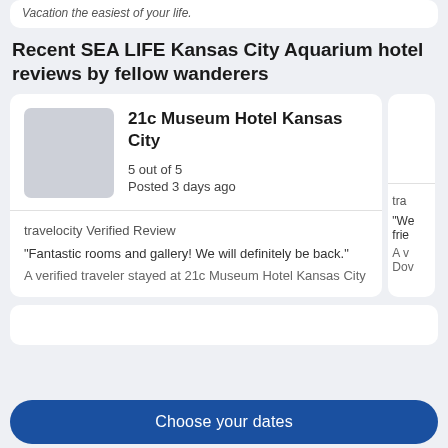Vacation the easiest of your life.
Recent SEA LIFE Kansas City Aquarium hotel reviews by fellow wanderers
21c Museum Hotel Kansas City
5 out of 5
Posted 3 days ago
travelocity Verified Review
"Fantastic rooms and gallery! We will definitely be back."
A verified traveler stayed at 21c Museum Hotel Kansas City
Choose your dates